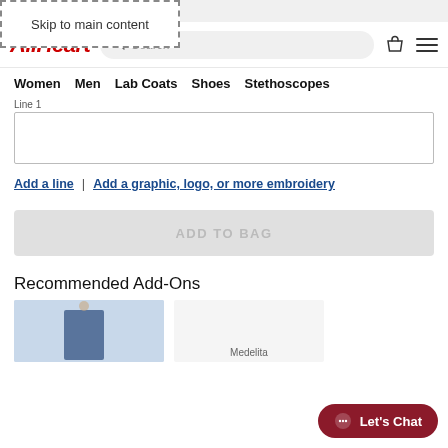S. ORDERS $49 USE CODE: 55249
Skip to main content
[Figure (logo): AllHeart logo in red italic bold text]
Search
Women  Men  Lab Coats  Shoes  Stethoscopes
Line 1
Add a line | Add a graphic, logo, or more embroidery
ADD TO BAG
Recommended Add-Ons
Medelita
Let's Chat